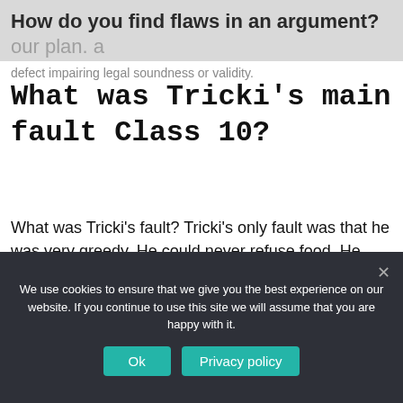How do you find flaws in an argument? our plan. a defect impairing legal soundness or validity.
What was Tricki's main fault Class 10?
What was Tricki's fault? Tricki's only fault was that he was very greedy. He could never refuse food. He would tackle a meal at any hour of the day or night.
What was Tricki's problem?
We use cookies to ensure that we give you the best experience on our website. If you continue to use this site we will assume that you are happy with it.